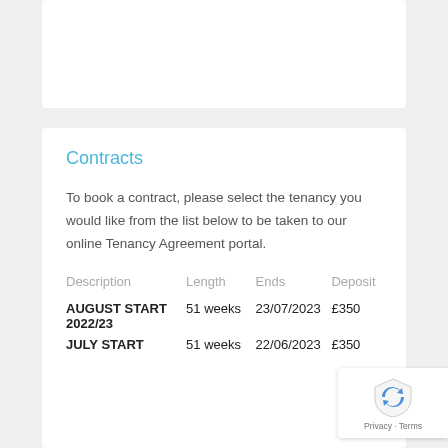Contracts
To book a contract, please select the tenancy you would like from the list below to be taken to our online Tenancy Agreement portal.
| Description | Length | Ends | Deposit |
| --- | --- | --- | --- |
| AUGUST START 2022/23 | 51 weeks | 23/07/2023 | £350 |
| JULY START | 51 weeks | 22/06/2023 | £350 |